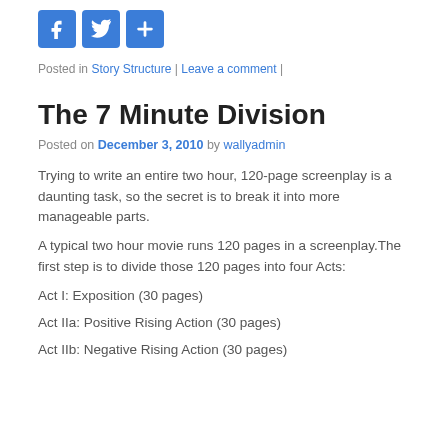[Figure (other): Social media sharing icons: Facebook, Twitter, and a generic share/plus button, all in blue rounded-square style]
Posted in Story Structure | Leave a comment |
The 7 Minute Division
Posted on December 3, 2010 by wallyadmin
Trying to write an entire two hour, 120-page screenplay is a daunting task, so the secret is to break it into more manageable parts.
A typical two hour movie runs 120 pages in a screenplay.The first step is to divide those 120 pages into four Acts:
Act I: Exposition (30 pages)
Act IIa: Positive Rising Action (30 pages)
Act IIb: Negative Rising Action (30 pages)